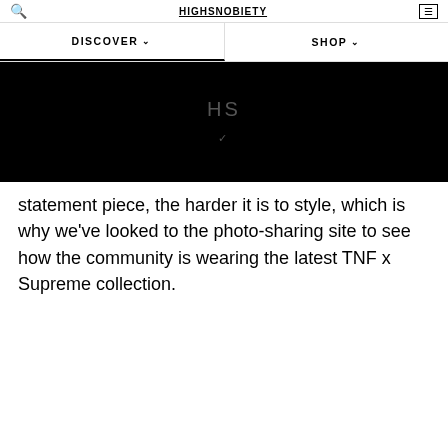HIGHSNOBIETY
DISCOVER ∨   SHOP ∨
[Figure (screenshot): Black video player placeholder with 'HS' watermark text in the center]
statement piece, the harder it is to style, which is why we've looked to the photo-sharing site to see how the community is wearing the latest TNF x Supreme collection.